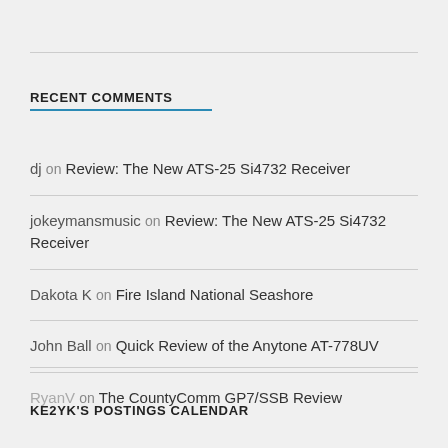RECENT COMMENTS
dj on Review: The New ATS-25 Si4732 Receiver
jokeymansmusic on Review: The New ATS-25 Si4732 Receiver
Dakota K on Fire Island National Seashore
John Ball on Quick Review of the Anytone AT-778UV
RyanV on The CountyComm GP7/SSB Review
KE2YK'S POSTINGS CALENDAR